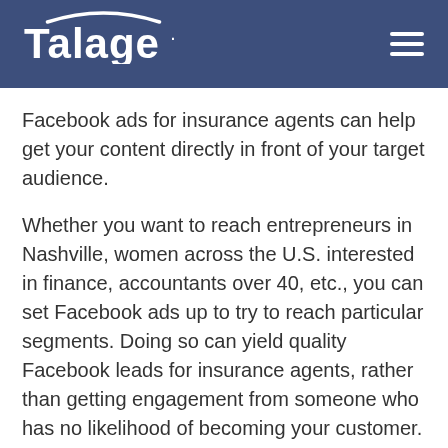Talage
Facebook ads for insurance agents can help get your content directly in front of your target audience.
Whether you want to reach entrepreneurs in Nashville, women across the U.S. interested in finance, accountants over 40, etc., you can set Facebook ads up to try to reach particular segments. Doing so can yield quality Facebook leads for insurance agents, rather than getting engagement from someone who has no likelihood of becoming your customer. Plus, you can focus on specific goals, such as getting people to sign up for a webinar or visit your website.
In this guide, we'll cover how insurance agents can